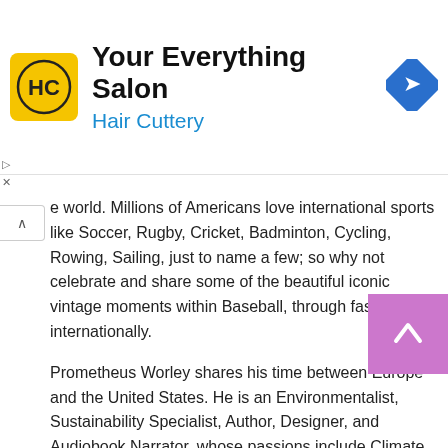[Figure (infographic): Hair Cuttery advertisement banner with yellow logo showing HC initials, title 'Your Everything Salon', subtitle 'Hair Cuttery' in blue, and a blue navigation arrow icon on the right]
e world. Millions of Americans love international sports like Soccer, Rugby, Cricket, Badminton, Cycling, Rowing, Sailing, just to name a few; so why not celebrate and share some of the beautiful iconic vintage moments within Baseball, through fashion internationally.
Prometheus Worley shares his time between Europe and the United States. He is an Environmentalist, Sustainability Specialist, Author, Designer, and Audiobook Narrator, whose passions include Climate Activism, Philanthropy, Fashion Design, Fine Art & Antiquities, Hiking, Backpacking, Meditation, Yoga, and international cultures.
As a Business Owner, Consultant and Reviewer, he has written widely on Healthcare Sustainability, Environmental Health & Safety, Classical Literature, Health & Fitness,